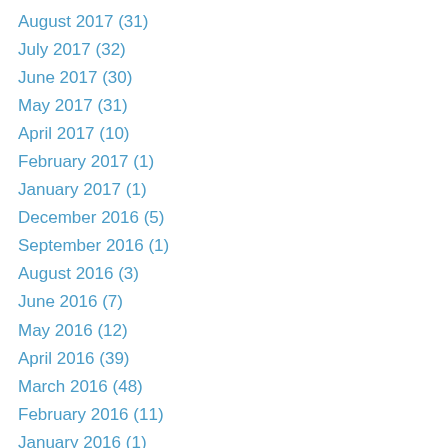August 2017 (31)
July 2017 (32)
June 2017 (30)
May 2017 (31)
April 2017 (10)
February 2017 (1)
January 2017 (1)
December 2016 (5)
September 2016 (1)
August 2016 (3)
June 2016 (7)
May 2016 (12)
April 2016 (39)
March 2016 (48)
February 2016 (11)
January 2016 (1)
December 2015 (24)
November 2015 (30)
October 2015 (31)
September 2015 (30)